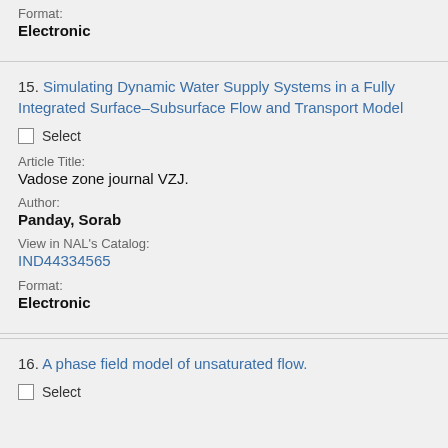Format:
Electronic
15. Simulating Dynamic Water Supply Systems in a Fully Integrated Surface–Subsurface Flow and Transport Model
Select
Article Title:
Vadose zone journal VZJ.
Author:
Panday, Sorab
View in NAL's Catalog:
IND44334565
Format:
Electronic
16. A phase field model of unsaturated flow.
Select